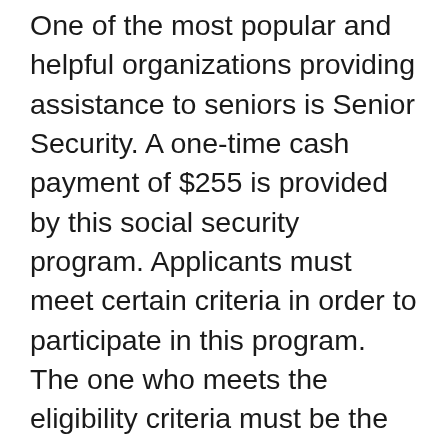One of the most popular and helpful organizations providing assistance to seniors is Senior Security. A one-time cash payment of $255 is provided by this social security program. Applicants must meet certain criteria in order to participate in this program. The one who meets the eligibility criteria must be the surviving spouse who lives in the same house where the deceased person lived. If you are eligible for this program, you will receive the benefits. This program has as its main objective to help seniors with their last rites of passage. As a result, this program provides a wide range of benefits derived from the insurance of the deceased person.